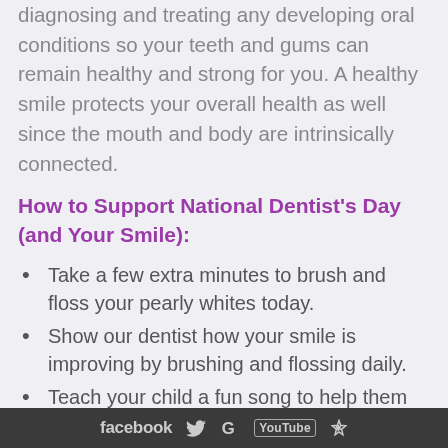diagnosing and treating any developing oral conditions so your teeth and gums can remain healthy and strong for you. A healthy smile protects your overall health as well since the mouth and body are intrinsically connected.
How to Support National Dentist's Day (and Your Smile):
Take a few extra minutes to brush and floss your pearly whites today.
Show our dentist how your smile is improving by brushing and flossing daily.
Teach your child a fun song to help them brush longer.
Schedule your family's routine dental checkups and exams.
facebook  [Twitter]  G  [YouTube]  [Yelp]